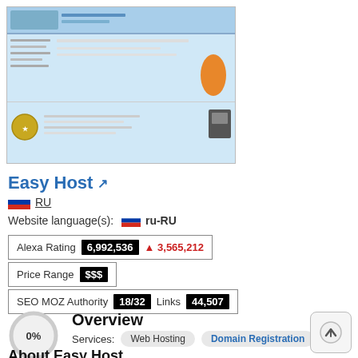[Figure (screenshot): Screenshot of Easy Host website showing a web hosting company homepage with logo, navigation, and content sections]
Easy Host ↗
RU
Website language(s): ru-RU
| Alexa Rating | 6,992,536 | ▲ 3,565,212 |
| Price Range | $$$ |
| SEO MOZ Authority | 18/32 | Links | 44,507 |
[Figure (donut-chart): Circular donut chart showing 0%]
Overview
Services: Web Hosting Domain Registration
About Easy Host